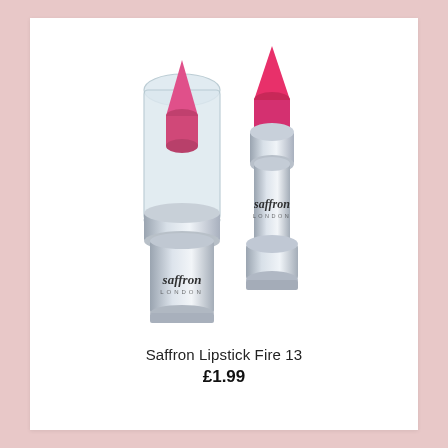[Figure (photo): Two Saffron London lipsticks in shade Fire 13. One lipstick has its clear cap on, showing a pink lipstick bullet inside. The other is open/uncapped showing the bright pink lipstick bullet fully visible. Both have silver metal bodies with the 'saffron LONDON' branding on them.]
Saffron Lipstick Fire 13
£1.99